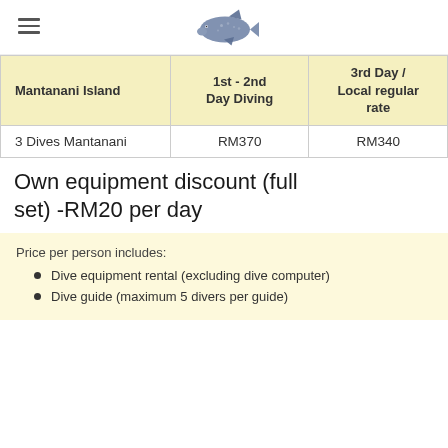Navigation header with hamburger menu and shark logo
| Mantanani Island | 1st - 2nd Day Diving | 3rd Day / Local regular rate |
| --- | --- | --- |
| 3 Dives Mantanani | RM370 | RM340 |
Own equipment discount (full set) -RM20 per day
Price per person includes:
Dive equipment rental (excluding dive computer)
Dive guide (maximum 5 divers per guide)